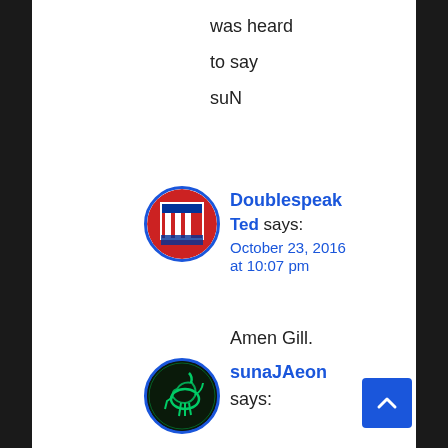was heard
to say
suN
Doublespeak
Ted says:
October 23, 2016 at 10:07 pm
Amen Gill.
sunaJAeon
says: